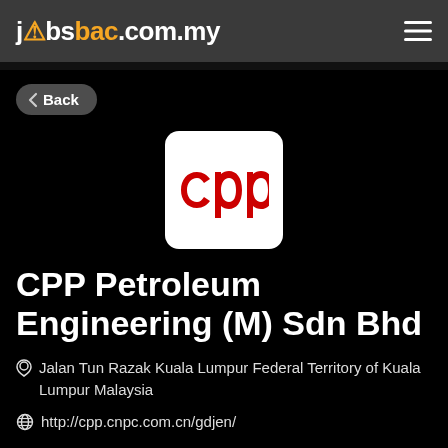jobsbac.com.my
Back
[Figure (logo): CPP company logo — white rounded square with red lowercase 'cpp' text in a stylized font]
CPP Petroleum Engineering (M) Sdn Bhd
Jalan Tun Razak Kuala Lumpur Federal Territory of Kuala Lumpur Malaysia
http://cpp.cnpc.com.cn/gdjen/